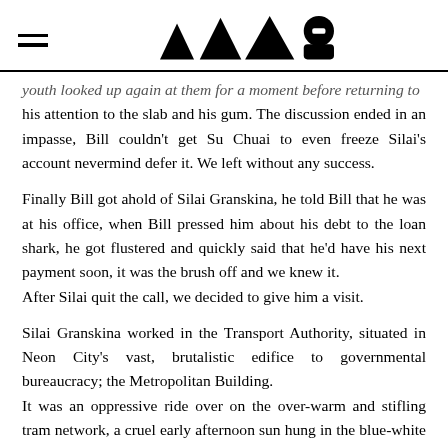[hamburger menu icon] [logo: triangles and character]
youth looked up again at them for a moment before returning to his attention to the slab and his gum. The discussion ended in an impasse, Bill couldn't get Su Chuai to even freeze Silai's account nevermind defer it. We left without any success.
Finally Bill got ahold of Silai Granskina, he told Bill that he was at his office, when Bill pressed him about his debt to the loan shark, he got flustered and quickly said that he'd have his next payment soon, it was the brush off and we knew it.
After Silai quit the call, we decided to give him a visit.
Silai Granskina worked in the Transport Authority, situated in Neon City's vast, brutalistic edifice to governmental bureaucracy; the Metropolitan Building.
It was an oppressive ride over on the over-warm and stifling tram network, a cruel early afternoon sun hung in the blue-white sky, blazed through the tram windows, overwhelmed the inadequate